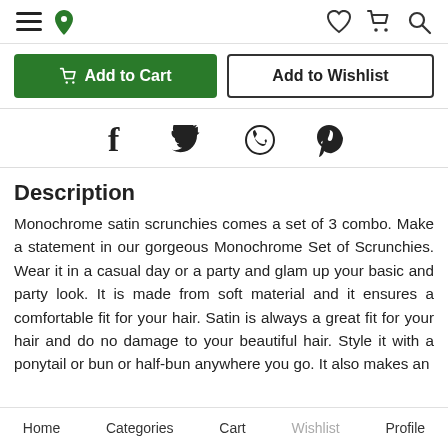Navigation header with hamburger menu, location pin, heart, cart, and search icons
Add to Cart | Add to Wishlist
[Figure (other): Social share icons: Facebook, Twitter, WhatsApp, Pinterest]
Description
Monochrome satin scrunchies comes a set of 3 combo. Make a statement in our gorgeous Monochrome Set of Scrunchies. Wear it in a casual day or a party and glam up your basic and party look. It is made from soft material and it ensures a comfortable fit for your hair. Satin is always a great fit for your hair and do no damage to your beautiful hair. Style it with a ponytail or bun or half-bun anywhere you go. It also makes an
Home   Categories   Cart   Wishlist   Profile